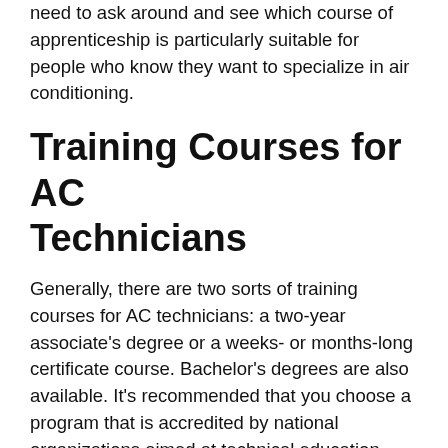need to ask around and see which course of apprenticeship is particularly suitable for people who know they want to specialize in air conditioning.
Training Courses for AC Technicians
Generally, there are two sorts of training courses for AC technicians: a two-year associate's degree or a weeks- or months-long certificate course. Bachelor's degrees are also available. It's recommended that you choose a program that is accredited by national organizations aimed at technical education such as HVAC Excellence or the Partnership for Air-Conditioning, Heating, Refrigeration Accreditation (PAHRA).